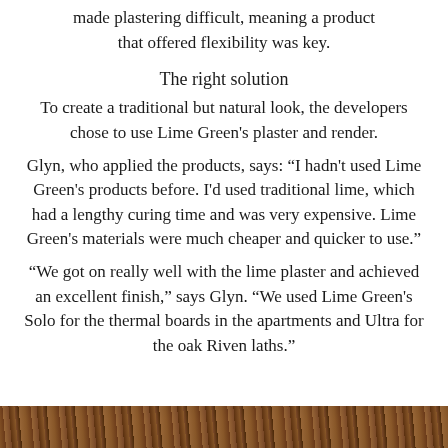made plastering difficult, meaning a product that offered flexibility was key.
The right solution
To create a traditional but natural look, the developers chose to use Lime Green's plaster and render.
Glyn, who applied the products, says: “I hadn't used Lime Green's products before. I'd used traditional lime, which had a lengthy curing time and was very expensive. Lime Green's materials were much cheaper and quicker to use.”
“We got on really well with the lime plaster and achieved an excellent finish,” says Glyn. “We used Lime Green's Solo for the thermal boards in the apartments and Ultra for the oak Riven laths.”
[Figure (photo): Close-up photograph of oak Riven laths with wooden texture visible]